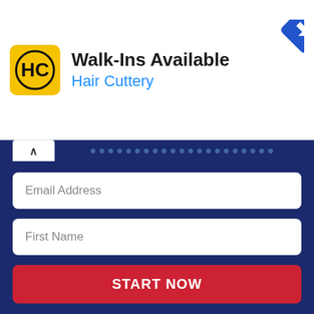[Figure (infographic): Hair Cuttery advertisement banner: yellow square logo with HC letters, text 'Walk-Ins Available' in bold black and 'Hair Cuttery' in blue, blue diamond navigation icon top right, small play/close controls on left side]
Email Address
First Name
START NOW
[Figure (photo): Beach/ocean wave texture background image with bold italic serif text reading “Never, never,” in black]